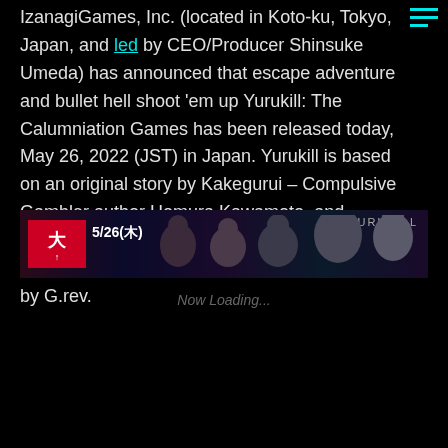IzanagiGames, Inc. (located in Koto-ku, Tokyo, Japan, and led by CEO/Producer Shinsuke Umeda) has announced that escape adventure and bullet hell shoot 'em up Yurukill: The Calumniation Games has been released today, May 26, 2022 (JST) in Japan. Yurukill is based on an original story by Kakegurui – Compulsive Gambler author Homura Kawamoto, and features a scenario by Hikaru Muno. The game's shoot 'em up sections were developed by G.rev.
[Figure (screenshot): A dark screenshot showing a date '5/26(木)' with red Japanese text block on the left and silhouetted character figures on a dark background with the game title 'YURUKILL' visible]
Now Loading...